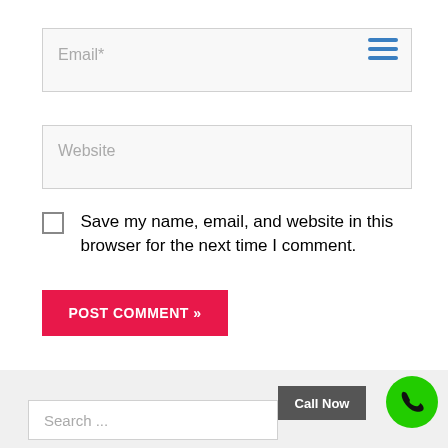Email*
Website
Save my name, email, and website in this browser for the next time I comment.
POST COMMENT »
Call Now
Search ...